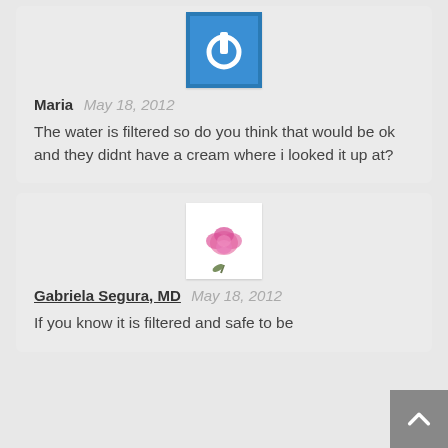[Figure (logo): Blue square with white power/on button icon — avatar for user Maria]
Maria   May 18, 2012
The water is filtered so do you think that would be ok and they didnt have a cream where i looked it up at?
[Figure (photo): White background with a pink peony flower illustration — avatar for Gabriela Segura, MD]
Gabriela Segura, MD   May 18, 2012
If you know it is filtered and safe to be